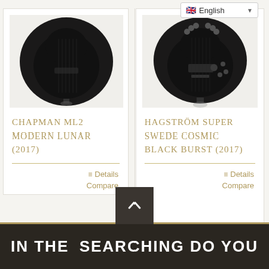[Figure (screenshot): English language selector dropdown in top right corner with UK flag icon]
[Figure (photo): Chapman ML2 Modern Lunar (2017) electric guitar, black finish, shown from front in circular crop]
Chapman ML2 Modern Lunar (2017)
≡ Details
Compare
[Figure (photo): Hagström Super Swede Cosmic Black Burst (2017) electric guitar, black burst finish, shown from front in circular crop]
Hagström Super Swede Cosmic Black Burst (2017)
≡ Details
Compare
IN THE   SEARCHING DO YOU